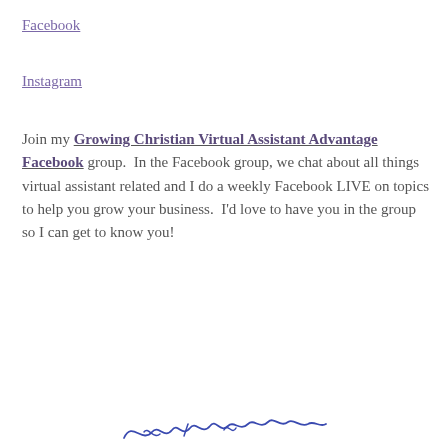Facebook
Instagram
Join my Growing Christian Virtual Assistant Advantage Facebook group.  In the Facebook group, we chat about all things virtual assistant related and I do a weekly Facebook LIVE on topics to help you grow your business.  I'd love to have you in the group so I can get to know you!
[Figure (illustration): Handwritten cursive signature at bottom center of page]